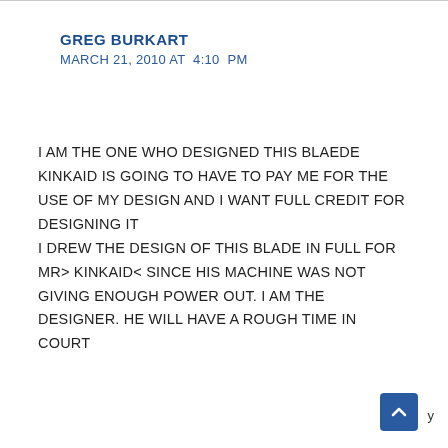GREG BURKART
MARCH 21, 2010 AT  4:10  PM
I AM THE ONE WHO DESIGNED THIS BLAEDE KINKAID IS GOING TO HAVE TO PAY ME FOR THE USE OF MY DESIGN AND I WANT FULL CREDIT FOR DESIGNING IT
I DREW THE DESIGN OF THIS BLADE IN FULL FOR MR> KINKAID< SINCE HIS MACHINE WAS NOT GIVING ENOUGH POWER OUT. I AM THE DESIGNER. HE WILL HAVE A ROUGH TIME IN COURT